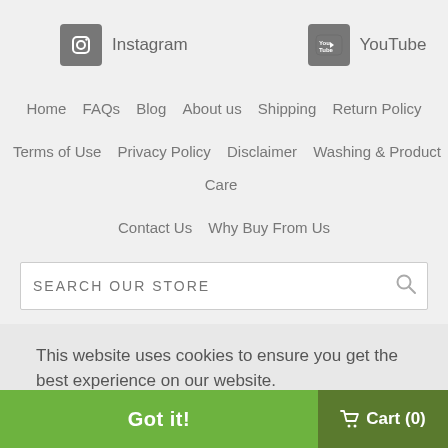[Figure (logo): Instagram social media icon - grey square with camera icon]
Instagram
[Figure (logo): YouTube social media icon - grey square with play button icon]
YouTube
Home   FAQs   Blog   About us   Shipping   Return Policy
Terms of Use   Privacy Policy   Disclaimer   Washing & Product Care
Contact Us   Why Buy From Us
SEARCH OUR STORE
This website uses cookies to ensure you get the best experience on our website.
Learn more
Got it!
Cart (0)